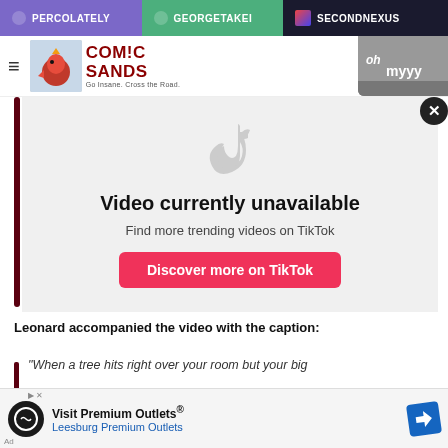PERCOLATELY   GEORGETAKEI   SECONDNEXUS
[Figure (logo): Comic Sands logo with rooster illustration and navigation elements]
[Figure (screenshot): TikTok embed showing Video currently unavailable message with Discover more on TikTok button]
Leonard accompanied the video with the caption:
"When a tree hits right over your room but your big
[Figure (other): Advertisement: Visit Premium Outlets - Leesburg Premium Outlets]